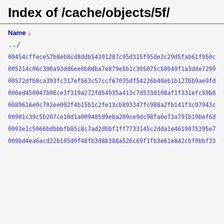Index of /cache/objects/5f/
../
00454cffece57b8eb8cd8ddb54391287c95d315f95de2c29d5fab61f950cf
005214c06c390a93dd6ee0b8dba7e879e5b1c305075c50b49f1a3dde72998
00572dfb8ca393fc317efb63c57ccf67035df54226b48eb1b127bb9ae9fdd
006ed450047b06ce3f319a272fd54935a413c7d533d108af1f331efc59b8a
0089616e0c702ee092f4b15b1c2fe13cb893347fc988a2fb141f3c97943c3
00901c39c5b207ce10d1a009485d9eba209ce9dc98fa0e73a791b19bef6da
0093e1c5066bdbbbfb85c8c7ad2dbbf1ff7733145c2dda1e4619075395e7f
009bd4ea6acd22b105d0f48fb3d8b388a526c69f1fb3e61e842cbf0bbf333